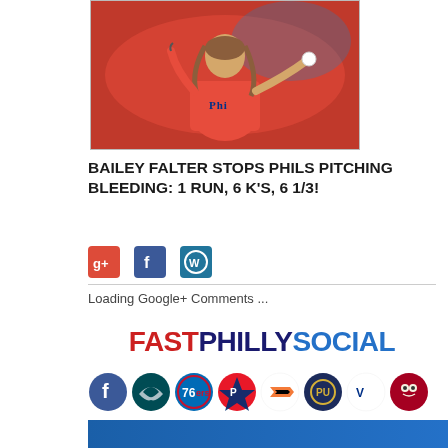[Figure (photo): Philadelphia Phillies pitcher Bailey Falter in red uniform in pitching motion]
BAILEY FALTER STOPS PHILS PITCHING BLEEDING: 1 RUN, 6 K'S, 6 1/3!
[Figure (infographic): Social sharing icons: Google+, Facebook, WordPress]
Loading Google+ Comments ...
[Figure (logo): FASTPHILLYSOCIAL logo in red, dark blue, and blue]
[Figure (infographic): Row of Philadelphia sports team logos: Facebook, Eagles, 76ers, Phillies, Flyers, Philadelphia Union, Villanova, Temple Owls]
[Figure (other): Blue banner at bottom of page]